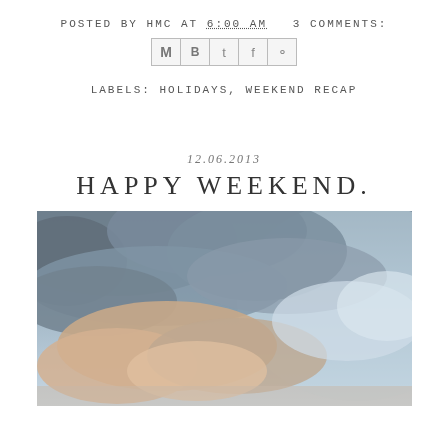POSTED BY HMC AT 6:00 AM   3 COMMENTS:
[Figure (screenshot): Social share buttons row: email (M), Blogger (B), Twitter (t), Facebook (f), Pinterest (p)]
LABELS: HOLIDAYS, WEEKEND RECAP
12.06.2013
HAPPY WEEKEND.
[Figure (photo): Sky photo showing dramatic clouds — dark grey clouds at top, warm peachy-orange lit clouds in lower center, soft blue sky visible on right side]